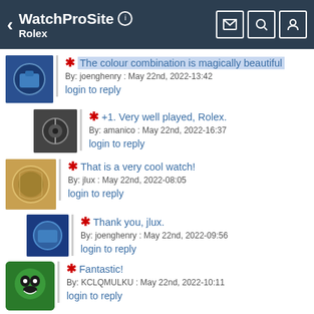WatchProSite — Rolex
* The colour combination is magically beautiful
By: joenghenry : May 22nd, 2022-13:42
login to reply
* +1. Very well played, Rolex.
By: amanico : May 22nd, 2022-16:37
login to reply
* That is a very cool watch!
By: jlux : May 22nd, 2022-08:05
login to reply
* Thank you, jlux.
By: joenghenry : May 22nd, 2022-09:56
login to reply
* Fantastic!
By: KCLQMULKU : May 22nd, 2022-10:11
login to reply
* Thank you, KC. A versatile travel watch indeed
By: joenghenry : May 22nd, 2022-12:16